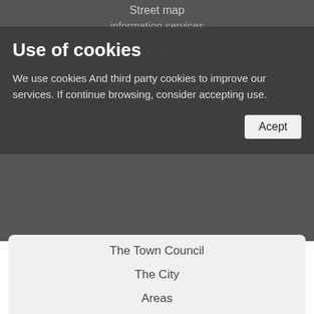Street map
information services
It can interest to you...
Use of cookies
We use cookies And third party cookies to improve our services. If continue browsing, consider accepting use.
Acept
The Town Council
The City
Areas
Administrative Procedures
Citizen Care